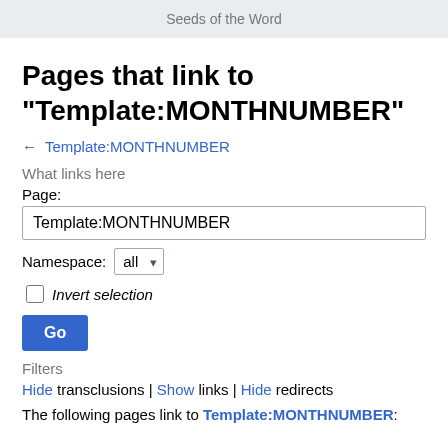Seeds of the Word
Pages that link to "Template:MONTHNUMBER"
← Template:MONTHNUMBER
What links here
Page:
Template:MONTHNUMBER
Namespace:  all
Invert selection
Filters
Hide transclusions | Show links | Hide redirects
The following pages link to Template:MONTHNUMBER: